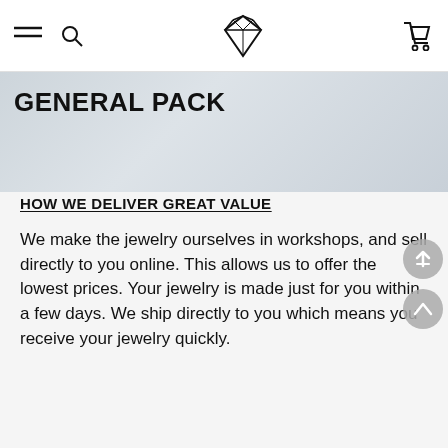Navigation bar with hamburger menu, search icon, diamond logo, and cart icon
GENERAL PACK
HOW WE DELIVER GREAT VALUE
We make the jewelry ourselves in workshops, and sell directly to you online. This allows us to offer the lowest prices. Your jewelry is made just for you within a few days. We ship directly to you which means you receive your jewelry quickly.